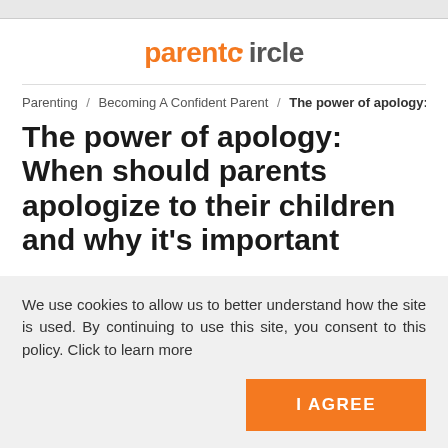parentcircle
Parenting / Becoming A Confident Parent / The power of apology: When sh
The power of apology: When should parents apologize to their children and why it's important
We use cookies to allow us to better understand how the site is used. By continuing to use this site, you consent to this policy. Click to learn more
I AGREE